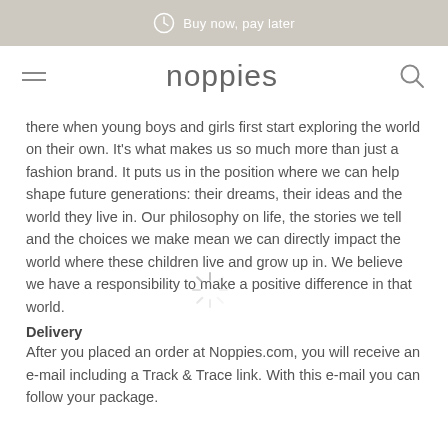Buy now, pay later
noppies
there when young boys and girls first start exploring the world on their own. It's what makes us so much more than just a fashion brand. It puts us in the position where we can help shape future generations: their dreams, their ideas and the world they live in. Our philosophy on life, the stories we tell and the choices we make mean we can directly impact the world where these children live and grow up in. We believe we have a responsibility to make a positive difference in that world.
Delivery
After you placed an order at Noppies.com, you will receive an e-mail including a Track & Trace link. With this e-mail you can follow your package.